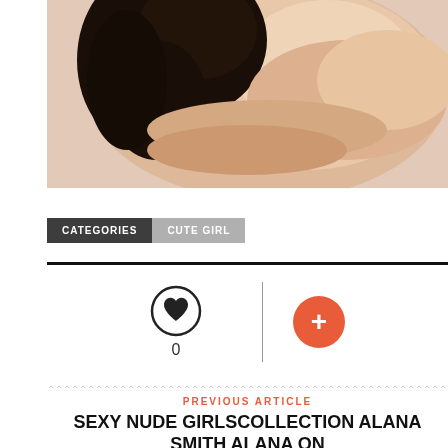[Figure (photo): Partial view of a woman with dark curly hair, upper body visible against a light background]
CATEGORIES   CUTE GIRL
[Figure (infographic): Heart icon with count 0 and a red plus button, separated by a vertical divider]
PREVIOUS ARTICLE
SEXY NUDE GIRLSCOLLECTION ALANA SMITH ALANA ON
NEXT ARTICLE